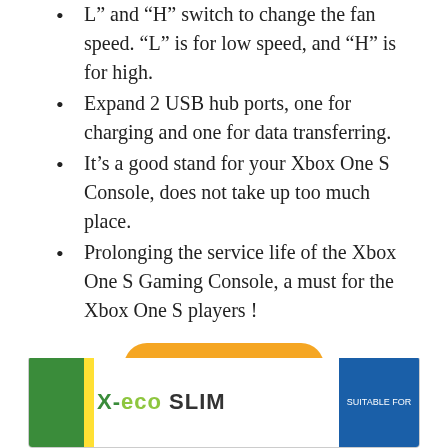L” and “H” switch to change the fan speed. “L” is for low speed, and “H” is for high.
Expand 2 USB hub ports, one for charging and one for data transferring.
It’s a good stand for your Xbox One S Console, does not take up too much place.
Prolonging the service life of the Xbox One S Gaming Console, a must for the Xbox One S players !
Buy on Amazon
9. PUNING POWER SUPPLY REPLACEMENT FOR XBOX 360 SLIM POWER SUPPLY
[Figure (photo): Product box image of X-ECO SLIM power supply replacement, showing green, white and blue packaging]